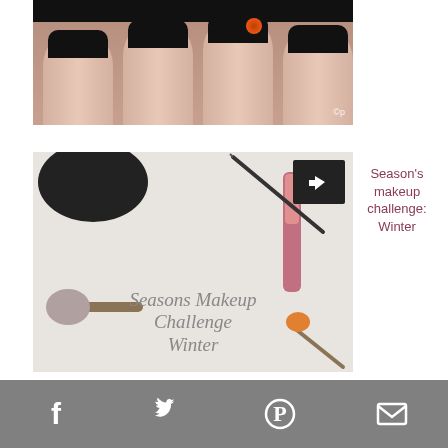[Figure (photo): Close-up photo of fingers with black nail polish, one nail has an orange floral accent. Watermark '©p' visible in lower right.]
[Figure (photo): Seasons Makeup Challenge Winter promotional image with makeup brushes and products on white background, with share icon overlay and cursive text reading 'Seasons Makeup Challenge Winter']
Season's makeup challenge: Winter
[Figure (infographic): Social media share bar with Facebook, Twitter, Pinterest, and Email icons on grey background]